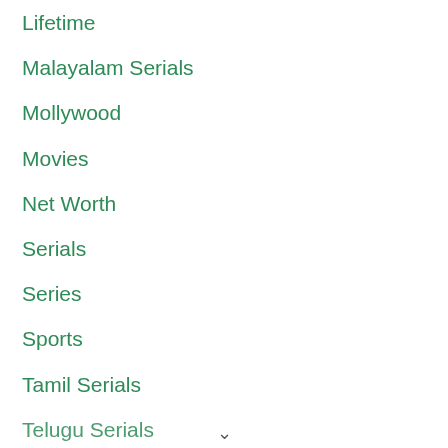Lifetime
Malayalam Serials
Mollywood
Movies
Net Worth
Serials
Series
Sports
Tamil Serials
Telugu Serials